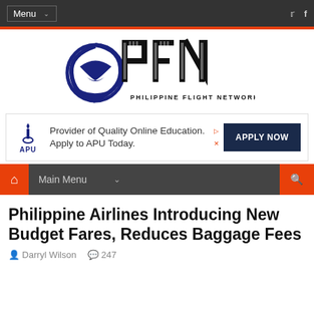Menu
[Figure (logo): Philippine Flight Network (PFN) logo with stylized bird and circular swoosh emblem in navy blue, bold striped PFN letters, and tagline PHILIPPINE FLIGHT NETWORK]
[Figure (other): APU advertisement banner: Provider of Quality Online Education. Apply to APU Today. APPLY NOW button]
Main Menu
Philippine Airlines Introducing New Budget Fares, Reduces Baggage Fees
Darryl Wilson   247